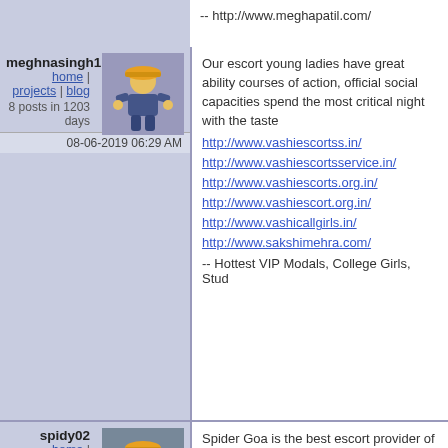-- http://www.meghapatil.com/
meghnasingh1
home | projects | blog
8 posts in 1203 days
08-06-2019 06:29 AM
Our escort young ladies have great ability courses of action, official social capacities spend the most critical night with the taste
http://www.vashiescortss.in/
http://www.vashiescortsservice.in/
http://www.vashiescorts.org.in/
http://www.vashiescort.org.in/
http://www.vashicallgirls.in/
http://www.sakshimehra.com/
-- Hottest VIP Modals, College Girls, Stud
spidy02
home | projects | blog
11 posts in 1111 days
08-29-2019 12:36 PM
Spider Goa is the best escort provider of Escorts and Goa College Girls for your se
Anjuna Escort
Ashvem Escorts
Baga Escort
-- http://spidergoa.com/baga-beach-escor